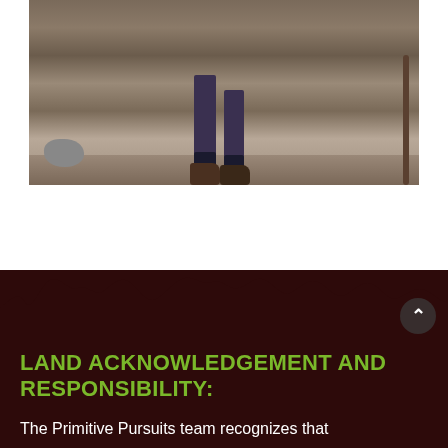[Figure (photo): Photograph showing the lower legs and hiking boots of a person standing on rocky dry ground, with a hiking stick visible on the right side.]
LAND ACKNOWLEDGEMENT AND RESPONSIBILITY:
The Primitive Pursuits team recognizes that